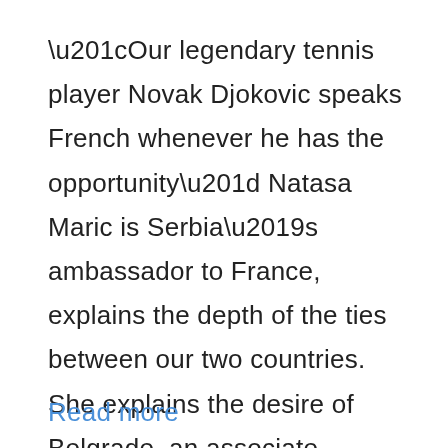“Our legendary tennis player Novak Djokovic speaks French whenever he has the opportunity” Natasa Maric is Serbia’s ambassador to France, explains the depth of the ties between our two countries. She explains the desire of Belgrade, an associate member of the International Organization of La Francophonie, to become a full member. Two of the …
Read more